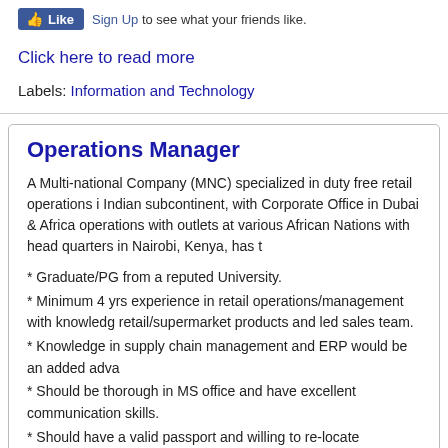Like  Sign Up to see what your friends like.
Click here to read more
Labels: Information and Technology
Operations Manager
A Multi-national Company (MNC) specialized in duty free retail operations in Indian subcontinent, with Corporate Office in Dubai & Africa operations with outlets at various African Nations with head quarters in Nairobi, Kenya, has t
* Graduate/PG from a reputed University.
* Minimum 4 yrs experience in retail operations/management with knowledge retail/supermarket products and led sales team.
* Knowledge in supply chain management and ERP would be an added adva
* Should be thorough in MS office and have excellent communication skills.
* Should have a valid passport and willing to re-locate immediately.
Job profile & responsibilities:
1. Retailing: